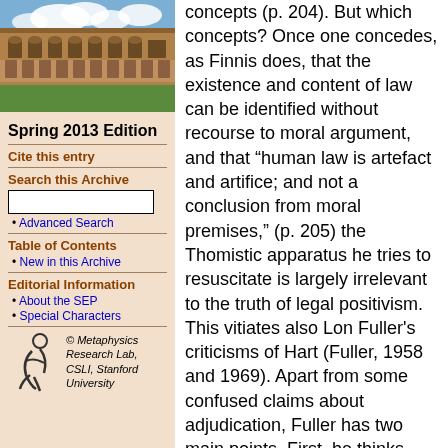[Figure (photo): Photo of a university building (sandstone architecture) with blue sky and clouds]
Spring 2013 Edition
Cite this entry
Search this Archive
• Advanced Search
Table of Contents
• New in this Archive
Editorial Information
• About the SEP
• Special Characters
[Figure (logo): Metaphysics Research Lab logo — stylized figure]
© Metaphysics Research Lab, CSLI, Stanford University
concepts (p. 204). But which concepts? Once one concedes, as Finnis does, that the existence and content of law can be identified without recourse to moral argument, and that “human law is artefact and artifice; and not a conclusion from moral premises,” (p. 205) the Thomistic apparatus he tries to resuscitate is largely irrelevant to the truth of legal positivism. This vitiates also Lon Fuller's criticisms of Hart (Fuller, 1958 and 1969). Apart from some confused claims about adjudication, Fuller has two main points. First, he thinks that it isn't enough for a legal system to rest on customary social rules, since law could not